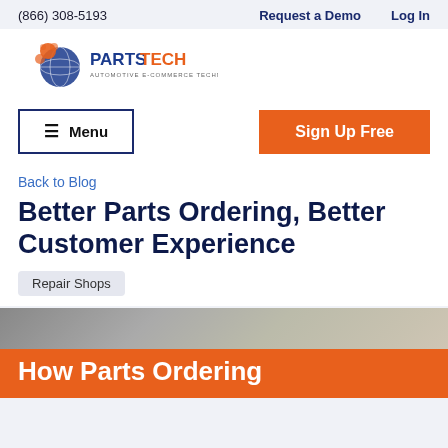(866) 308-5193   Request a Demo   Log In
[Figure (logo): PartsTech logo - globe with orange gear pieces and blue globe, text PARTSTECH AUTOMOTIVE E-COMMERCE TECHNOLOGY]
≡ Menu
Sign Up Free
Back to Blog
Better Parts Ordering, Better Customer Experience
Repair Shops
[Figure (photo): Hero image of automotive repair shop with orange banner overlay reading 'How Parts Ordering']